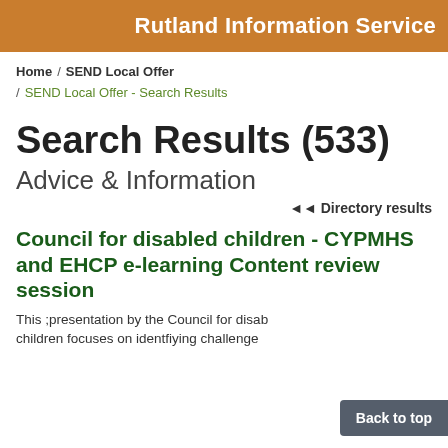Rutland Information Service
Home / SEND Local Offer / SEND Local Offer - Search Results
Search Results (533)
Advice & Information
◄◄ Directory results
Council for disabled children - CYPMHS and EHCP e-learning Content review session
This ;presentation by the Council for disabled children focuses on identfiying challenge...